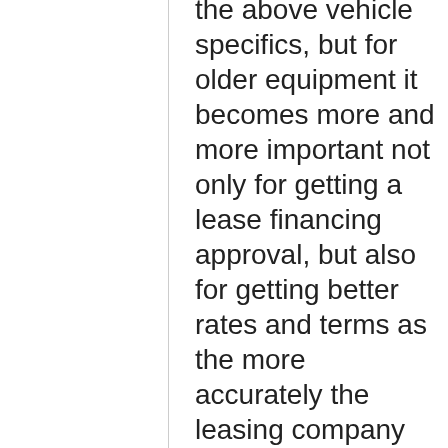the above vehicle specifics, but for older equipment it becomes more and more important not only for getting a lease financing approval, but also for getting better rates and terms as the more accurately the leasing company can understand the exact features and conditions of a motor coach, the more likely they are to provide a better